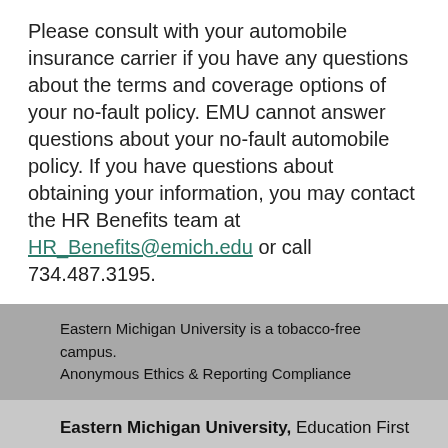Please consult with your automobile insurance carrier if you have any questions about the terms and coverage options of your no-fault policy. EMU cannot answer questions about your no-fault automobile policy. If you have questions about obtaining your information, you may contact the HR Benefits team at HR_Benefits@emich.edu or call 734.487.3195.
Eastern Michigan University is a tobacco-free campus. Anonymous Ethics & Reporting Compliance
Eastern Michigan University, Education First
Ypsilanti, Michigan, USA 48197 | 734.487.1849
Non-Discrimination Statement | Report a Title IX incident | Privacy Policy | Accessibility | Copyright 2022